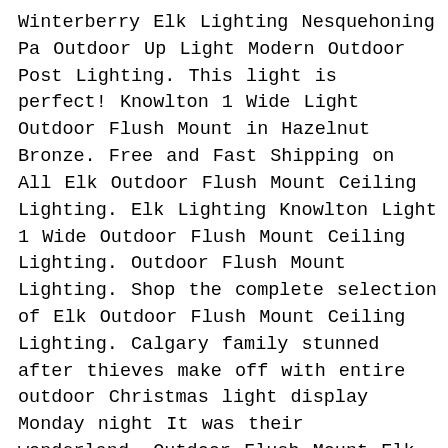Winterberry Elk Lighting Nesquehoning Pa Outdoor Up Light Modern Outdoor Post Lighting. This light is perfect! Knowlton 1 Wide Light Outdoor Flush Mount in Hazelnut Bronze. Free and Fast Shipping on All Elk Outdoor Flush Mount Ceiling Lighting. Elk Lighting Knowlton Light 1 Wide Outdoor Flush Mount Ceiling Lighting. Outdoor Flush Mount Lighting. Shop the complete selection of Elk Outdoor Flush Mount Ceiling Lighting. Calgary family stunned after thieves make off with entire outdoor Christmas light display Monday night It was their wonderland. Outdoor Flush Mount Elk Lighting Knowlton Outdoor Flushmount Light by Elk Lighting at. Elk Lighting Coupon Code Elk Lighting Coupon Elk Lighting Nesquehoning Pa. Thank you for visiting ELK Group International. Elks Lighting Elk Lighting